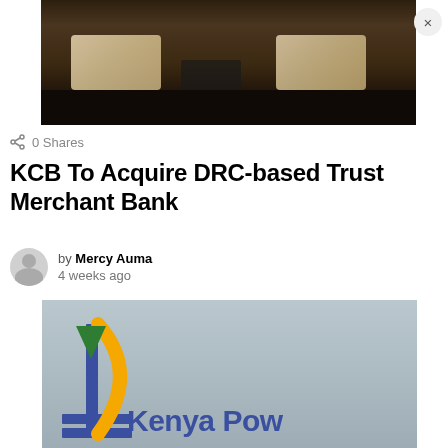[Figure (photo): Two people signing documents at a table, viewed from above, with papers and dark surface visible]
0 Shares
KCB To Acquire DRC-based Trust Merchant Bank
by Mercy Auma
4 weeks ago
[Figure (photo): Kenya Power company sign/logo showing the KCB logo with blue, green, and yellow colors, with text reading 'Kenya Pow' (partially visible)]